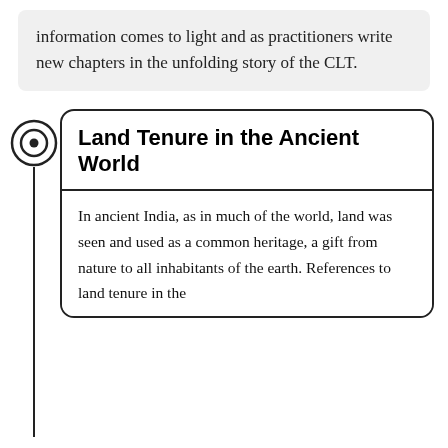information comes to light and as practitioners write new chapters in the unfolding story of the CLT.
Land Tenure in the Ancient World
In ancient India, as in much of the world, land was seen and used as a common heritage, a gift from nature to all inhabitants of the earth. References to land tenure in the